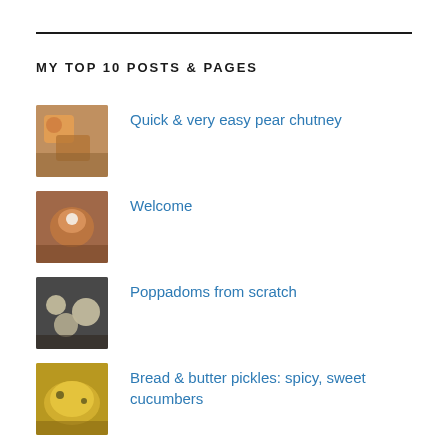MY TOP 10 POSTS & PAGES
Quick & very easy pear chutney
Welcome
Poppadoms from scratch
Bread & butter pickles: spicy, sweet cucumbers
Spiced carrot chutney
Boule (tangzhong method)